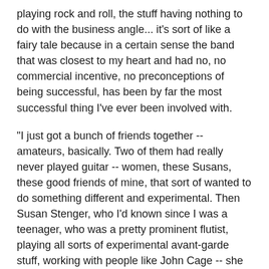playing rock and roll, the stuff having nothing to do with the business angle... it's sort of like a fairy tale because in a certain sense the band that was closest to my heart and had no, no commercial incentive, no preconceptions of being successful, has been by far the most successful thing I've ever been involved with.
"I just got a bunch of friends together -- amateurs, basically. Two of them had really never played guitar -- women, these Susans, these good friends of mine, that sort of wanted to do something different and experimental. Then Susan Stenger, who I'd known since I was a teenager, who was a pretty prominent flutist, playing all sorts of experimental avant-garde stuff, working with people like John Cage -- she sort of picked up the bass guitar. I mean it was a real old-fashioned kind of pick-up and kidding thing.*